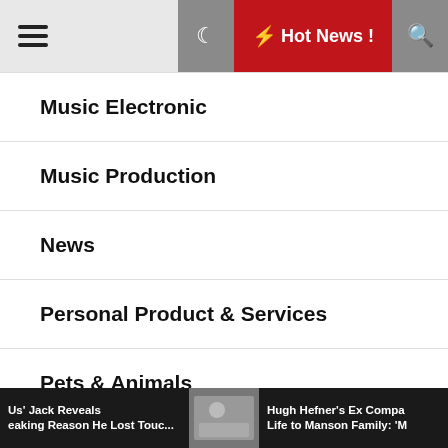≡ Hot News !
Music Electronic
Music Production
News
Personal Product & Services
Pets & Animals
Real Estate
Reality TV
Us' Jack Reveals eaking Reason He Lost Touc...
Hugh Hefner's Ex Compa Life to Manson Family: 'M